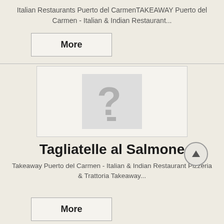Italian Restaurants Puerto del CarmenTAKEAWAY Puerto del Carmen - Italian & Indian Restaurant...
[Figure (other): A More button (rectangular button with border)]
[Figure (other): Placeholder image with a large grey question mark on white/light background, inside a card container]
Tagliatelle al Salmone
Takeaway Puerto del Carmen - Italian & Indian Restaurant Pizzeria & Trattoria Takeaway...
[Figure (other): Scroll-to-top circular button with upward triangle arrow]
[Figure (other): A More button (rectangular button with border)]